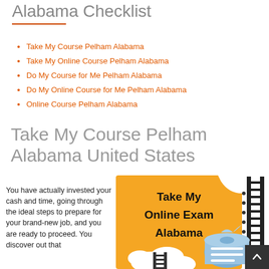Alabama Checklist
Take My Course Pelham Alabama
Take My Online Course Pelham Alabama
Do My Course for Me Pelham Alabama
Do My Online Course for Me Pelham Alabama
Online Course Pelham Alabama
Take My Course Pelham Alabama United States
You have actually invested your cash and time, going through the ideal steps to prepare for your brand-new job, and you are ready to proceed. You discover out that
[Figure (infographic): Orange background infographic with text 'Take My Online Exam Alabama' in bold black, white cloud shapes, ladder graphics, and a scroll/book graphic on the right side]